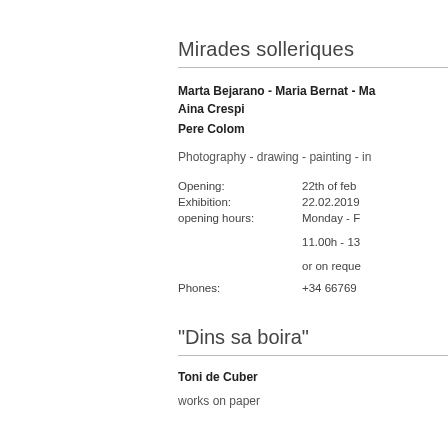Mirades solleriques
Marta Bejarano - Maria Bernat - Ma... Aina Crespi
Pere Colom
Photography - drawing - painting - in...
| Opening: | 22th of feb... |
| Exhibition: | 22.02.2019... |
| opening hours: | Monday - F... 11.00h - 13... or on reque... |
| Phones: | +34 66769... |
"Dins sa boira"
Toni de Cuber
works on paper